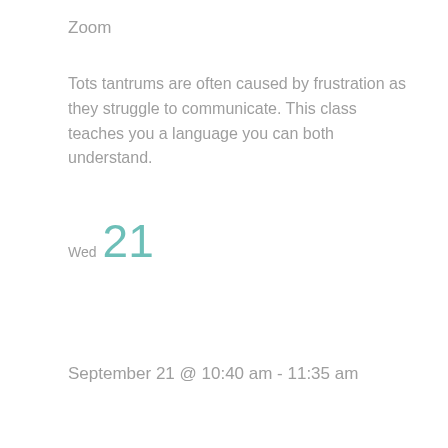Zoom
Tots tantrums are often caused by frustration as they struggle to communicate. This class teaches you a language you can both understand.
Wed 21
September 21 @ 10:40 am - 11:35 am